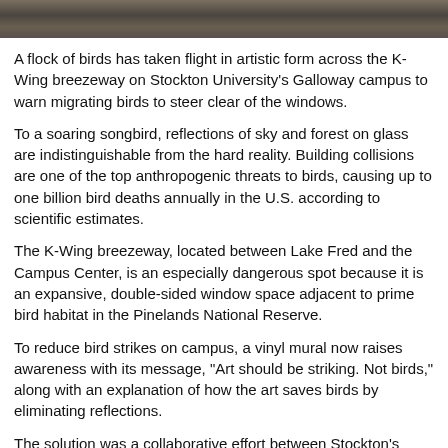[Figure (photo): Top portion of an indoor architectural photo showing what appears to be the K-Wing breezeway at Stockton University, partially cropped at the top of the page.]
A flock of birds has taken flight in artistic form across the K-Wing breezeway on Stockton University's Galloway campus to warn migrating birds to steer clear of the windows.
To a soaring songbird, reflections of sky and forest on glass are indistinguishable from the hard reality. Building collisions are one of the top anthropogenic threats to birds, causing up to one billion bird deaths annually in the U.S. according to scientific estimates.
The K-Wing breezeway, located between Lake Fred and the Campus Center, is an especially dangerous spot because it is an expansive, double-sided window space adjacent to prime bird habitat in the Pinelands National Reserve.
To reduce bird strikes on campus, a vinyl mural now raises awareness with its message, "Art should be striking. Not birds," along with an explanation of how the art saves birds by eliminating reflections.
The solution was a collaborative effort between Stockton's School of Natural Sciences and Mathematics, University Relations & Marketing, the Division of Facilities & Operations and the Biodiversity Committee with funding provided by the President's